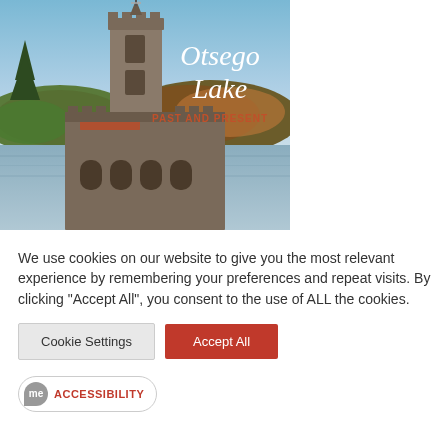[Figure (illustration): Book cover for 'Otsego Lake: Past and Present' showing a stone castle/tower on a lake with forested hills in the background under a blue sky. Title text 'Otsego Lake' in white italic, 'Past and Present' in orange/red caps below.]
We use cookies on our website to give you the most relevant experience by remembering your preferences and repeat visits. By clicking "Accept All", you consent to the use of ALL the cookies.
Cookie Settings | Accept All
me ACCESSIBILITY